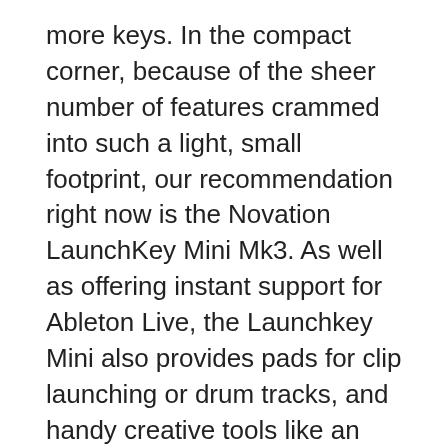more keys. In the compact corner, because of the sheer number of features crammed into such a light, small footprint, our recommendation right now is the Novation LaunchKey Mini Mk3. As well as offering instant support for Ableton Live, the Launchkey Mini also provides pads for clip launching or drum tracks, and handy creative tools like an arpeggiator and chord memory function.
Meanwhile, if you're looking for a larger controller, we heartily recommend Native Instruments' Komplete Kontrol S-Series boards, and in particular the Native Instruments Kontrol S61 Mk 2. They feature excellent keybeds, fantastic styling, wonderful twin colour screens and impressive functionality – these 49, 61 and 88-key